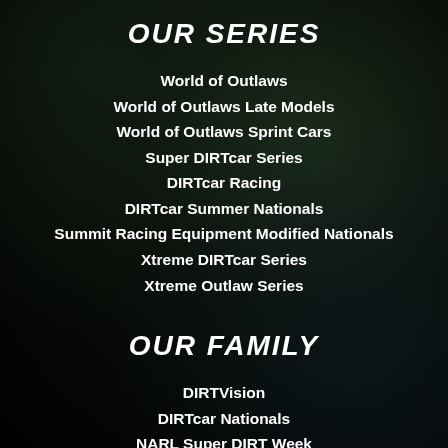OUR SERIES
World of Outlaws
World of Outlaws Late Models
World of Outlaws Sprint Cars
Super DIRTcar Series
DIRTcar Racing
DIRTcar Summer Nationals
Summit Racing Equipment Modified Nationals
Xtreme DIRTcar Series
Xtreme Outlaw Series
OUR FAMILY
DIRTVision
DIRTcar Nationals
NARL Super DIRT Week